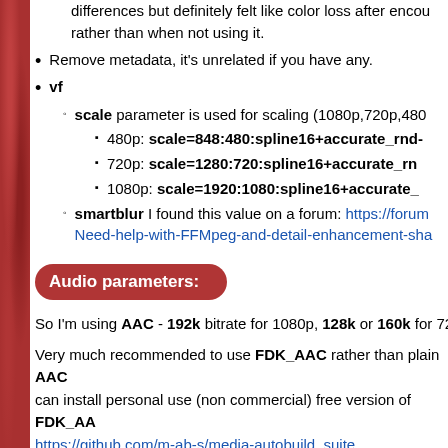differences but definitely felt like color loss after encoding, rather than when not using it.
Remove metadata, it's unrelated if you have any.
vf
scale parameter is used for scaling (1080p,720p,480p)
480p: scale=848:480:spline16+accurate_rnd-
720p: scale=1280:720:spline16+accurate_rnd
1080p: scale=1920:1080:spline16+accurate_
smartblur I found this value on a forum: https://forum... Need-help-with-FFMpeg-and-detail-enhancement-sha
Audio parameters:
So I'm using AAC - 192k bitrate for 1080p, 128k or 160k for 720p
Very much recommended to use FDK_AAC rather than plain AAC can install personal use (non commercial) free version of FDK_AA https://github.com/m-ab-s/media-autobuild_suite
If you are going to use AAC and want the best results, remember